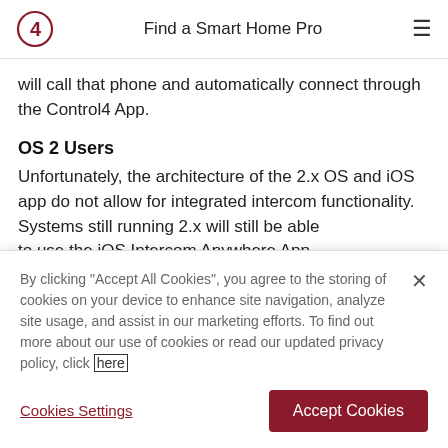Find a Smart Home Pro
will call that phone and automatically connect through the Control4 App.
OS 2 Users
Unfortunately, the architecture of the 2.x OS and iOS app do not allow for integrated intercom functionality. Systems still running 2.x will still be able to use the iOS Intercom Anywhere App
By clicking "Accept All Cookies", you agree to the storing of cookies on your device to enhance site navigation, analyze site usage, and assist in our marketing efforts. To find out more about our use of cookies or read our updated privacy policy, click here
Cookies Settings
Accept Cookies